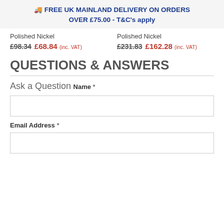🚚 FREE UK MAINLAND DELIVERY ON ORDERS OVER £75.00 - T&C's apply
Polished Nickel   £98.34  £68.84 (inc. VAT)   |   Polished Nickel   £231.83  £162.28 (inc. VAT)
QUESTIONS & ANSWERS
Ask a Question
Name *
Email Address *